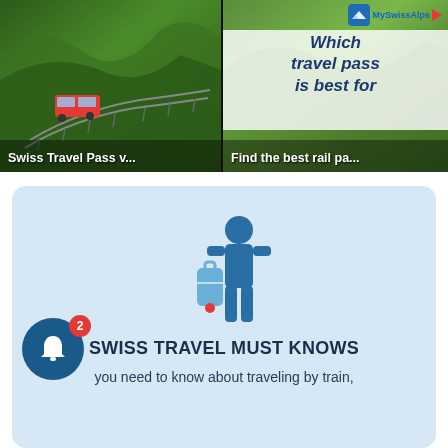[Figure (screenshot): Two YouTube-style video thumbnails side by side. Left thumbnail shows a green alpine landscape with a train, caption 'Swiss Travel Pass v...'. Right thumbnail shows 'Which travel pass is best for' text overlay with MySwissAlps branding, caption 'Find the best rail pa...']
[Figure (infographic): Light blue card with traveler icon (person with luggage), heading 'SWISS TRAVEL MUST KNOWS', and partial text 'you need to know about traveling by train,']
Swiss Travel Pass v...
Find the best rail pa...
SWISS TRAVEL MUST KNOWS
you need to know about traveling by train,